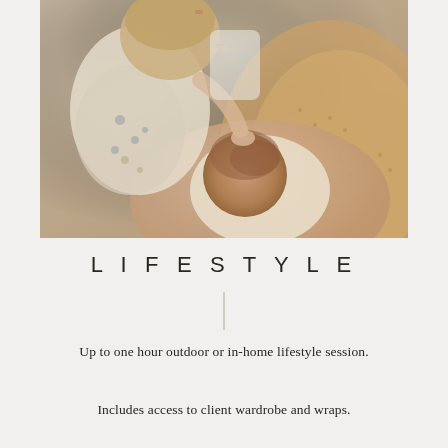[Figure (photo): Overhead/top-down photograph of a woman holding a newborn baby, with a young girl in a floral dress leaning in to look at the baby. Warm, earthy tones with natural outdoor setting.]
LIFESTYLE
Up to one hour outdoor or in-home lifestyle session.
Includes access to client wardrobe and wraps.